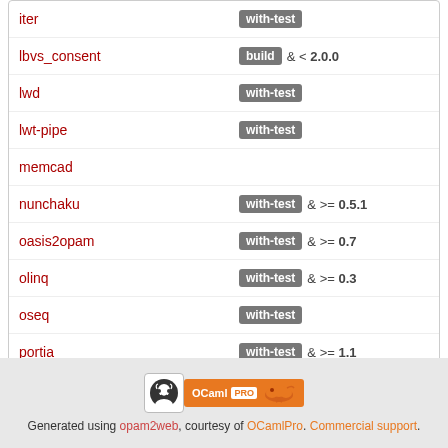| Package | Constraints |
| --- | --- |
| iter | with-test |
| lbvs_consent | build & < 2.0.0 |
| lwd | with-test |
| lwt-pipe | with-test |
| memcad |  |
| nunchaku | with-test & >= 0.5.1 |
| oasis2opam | with-test & >= 0.7 |
| olinq | with-test & >= 0.3 |
| oseq | with-test |
| portia | with-test & >= 1.1 |
| ptmap | with-test & >= 2.0.1 & < 2.0.5 |
| sequence | with-test & >= 1.0 |
Optionally used by
| Package | Constraints |
| --- | --- |
| nunchaku | with-test & < 0.5.1 |
Generated using opam2web, courtesy of OCamlPro. Commercial support.